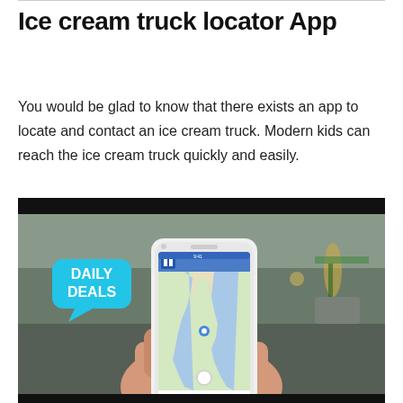Ice cream truck locator App
You would be glad to know that there exists an app to locate and contact an ice cream truck. Modern kids can reach the ice cream truck quickly and easily.
[Figure (photo): A hand holding a white smartphone displaying a map app with a blue water body (resembling Manhattan/NYC map), with a 'DAILY DEALS' speech bubble label in cyan/teal on the left side. The background shows a blurred street scene.]